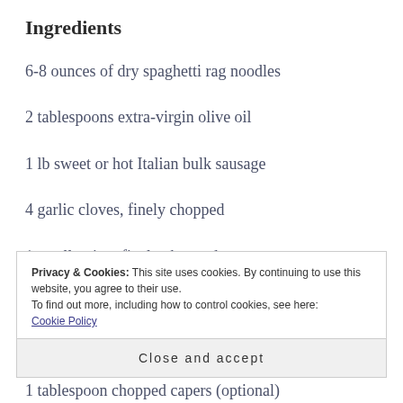Ingredients
6-8 ounces of dry spaghetti rag noodles
2 tablespoons extra-virgin olive oil
1 lb sweet or hot Italian bulk sausage
4 garlic cloves, finely chopped
1 small onion, finely chopped
Privacy & Cookies: This site uses cookies. By continuing to use this website, you agree to their use.
To find out more, including how to control cookies, see here: Cookie Policy
Close and accept
1 tablespoon chopped capers (optional)